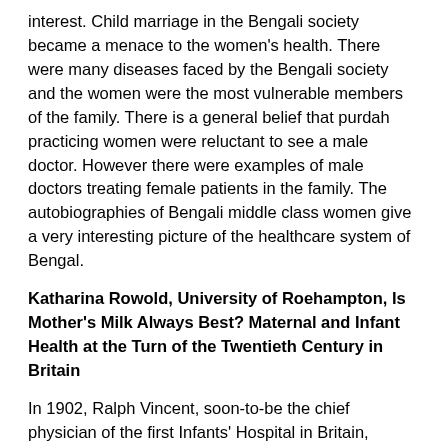interest. Child marriage in the Bengali society became a menace to the women's health. There were many diseases faced by the Bengali society and the women were the most vulnerable members of the family. There is a general belief that purdah practicing women were reluctant to see a male doctor. However there were examples of male doctors treating female patients in the family. The autobiographies of Bengali middle class women give a very interesting picture of the healthcare system of Bengal.
Katharina Rowold, University of Roehampton, Is Mother's Milk Always Best? Maternal and Infant Health at the Turn of the Twentieth Century in Britain
In 1902, Ralph Vincent, soon-to-be the chief physician of the first Infants' Hospital in Britain, declared that breast milk was not always an 'ideal food' for babies: the composition of the bodily fluid was too variable. It was plain to him that breastfeeding as a means of infant feeding could have its drawbacks and disadvantages. Victorian advice and medical literature had long encouraged maternal breastfeeding over other means of infant feeding, such as wet nursing and bottle